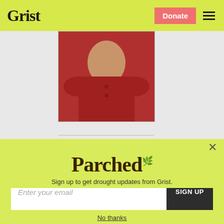Grist | Donate
[Figure (photo): Person wearing red top, upper body visible, cropped photo]
[Figure (infographic): 2022 Climate Jobs Summit: From Ambition to Action banner with blue background and yellow/orange text, person raising arm on right side]
Parched
Sign up to get drought updates from Grist.
Enter your email | SIGN UP
No thanks